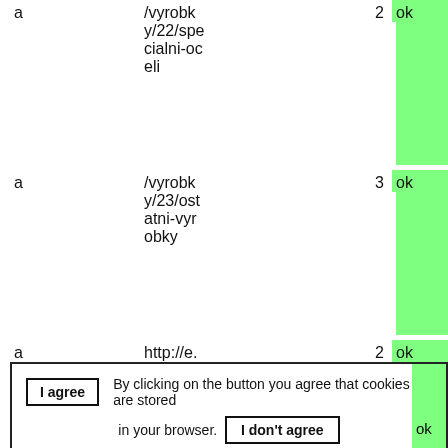|  |  |  |  |
| --- | --- | --- | --- |
| a | /vyrobky/22/specialni-oceli | 2 | ok |
| a | /vyrobky/23/ostatni-vyrobky | 3 | ok |
| a | http://e.sostrinec.cz/ | 2 | ok |
I agree  By clicking on the button you agree that cookies are stored in your browser.  I don't agree  Information on the stored cookies can be found at data protection#Cookies.